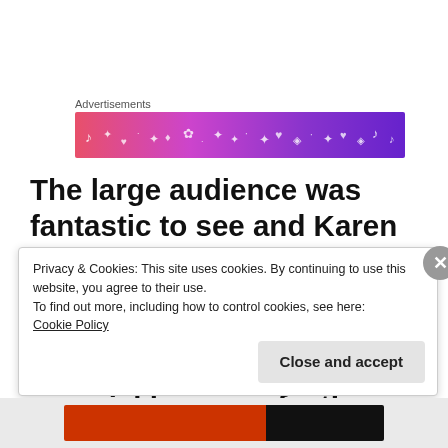Advertisements
[Figure (illustration): Colorful advertisement banner with gradient background from pink to purple, decorated with small white icons including musical notes, hearts, and other decorative symbols]
The large audience was fantastic to see and Karen answered the many thoughtful questions fantastically. I don’t think I would ever be able to think so quickly on my feet!
Privacy & Cookies: This site uses cookies. By continuing to use this website, you agree to their use.
To find out more, including how to control cookies, see here:
Cookie Policy
Close and accept